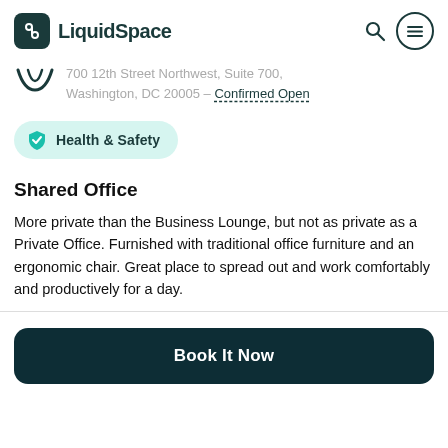LiquidSpace
700 12th Street Northwest, Suite 700, Washington, DC 20005 – Confirmed Open
[Figure (logo): Health & Safety badge with shield checkmark icon on teal background]
Shared Office
More private than the Business Lounge, but not as private as a Private Office. Furnished with traditional office furniture and an ergonomic chair. Great place to spread out and work comfortably and productively for a day.
Book It Now